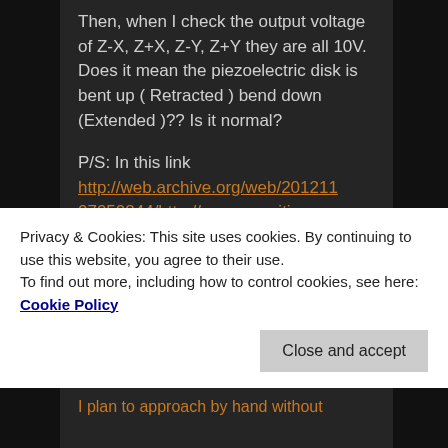Then, when I check the output voltage of Z-X, Z+X, Z-Y, Z+Y they are all 10V. Does it mean the piezoelectric disk is bent up ( Retracted ) bend down (Extended )?? Is it normal?
P/S: In this link http://web.archive.org/web/20121107050844/http://www.geocities.com/spm_stm/Disk_Scanner_Exp.html the disk is mounted backward with your case (Tip one the silver paint surface)
Privacy & Cookies: This site uses cookies. By continuing to use this website, you agree to their use.
To find out more, including how to control cookies, see here: Cookie Policy
I plan to approach by hand without